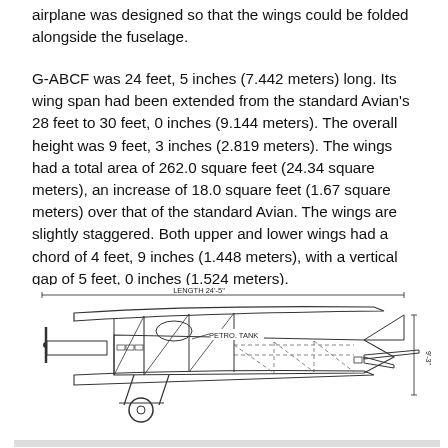airplane was designed so that the wings could be folded alongside the fuselage.
G-ABCF was 24 feet, 5 inches (7.442 meters) long. Its wing span had been extended from the standard Avian's 28 feet to 30 feet, 0 inches (9.144 meters). The overall height was 9 feet, 3 inches (2.819 meters). The wings had a total area of 262.0 square feet (24.34 square meters), an increase of 18.0 square feet (1.67 square meters) over that of the standard Avian. The wings are slightly staggered. Both upper and lower wings had a chord of 4 feet, 9 inches (1.448 meters), with a vertical gap of 5 feet, 0 inches (1.524 meters).
[Figure (engineering-diagram): Side-view engineering diagram of a biplane (G-ABCF Avian) showing: LENGTH 24'-5" dimension arrow spanning the full aircraft length, PETROL TANK label with arrow pointing to fuel tank, height dimension arrow on right side labeled 9'-3", main landing gear wheel, propeller, cockpit area, wing struts, and tail assembly.]